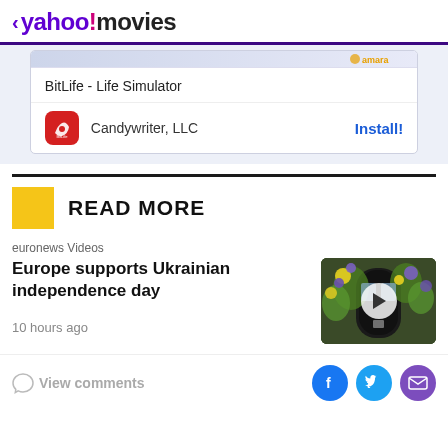< yahoo!movies
[Figure (screenshot): BitLife - Life Simulator app advertisement with Candywriter LLC and Install button]
READ MORE
euronews Videos
Europe supports Ukrainian independence day
[Figure (photo): Video thumbnail showing a doorway decorated with flowers]
10 hours ago
View comments